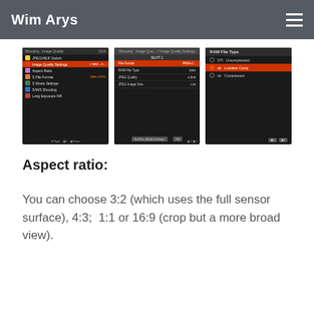Wim Arys
[Figure (screenshot): Three camera LCD screenshots showing image quality menu, file format settings (SLOT 1 with RAW File Type, JPEG Quality, JPEG Image Size), and RAW File Type selection (Uncompressed, Lossless Comp highlighted, Compressed)]
Aspect ratio:
You can choose 3:2 (which uses the full sensor surface), 4:3; 1:1 or 16:9 (crop but a more broad view).